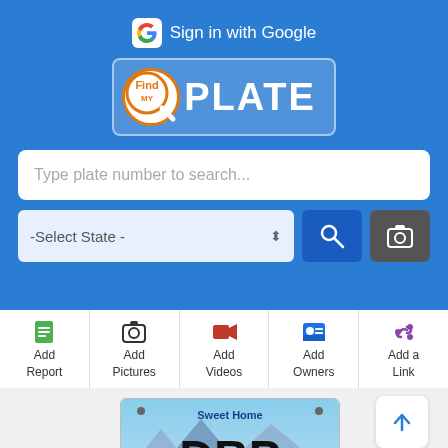[Figure (screenshot): FindPlate app screenshot showing sign in with Google, search bar for plate number, state selector, action buttons, and Alabama license plate preview with 'DBP']
Sign in with Google
FindPLATE
Type plate number to search...
-Select State -
Add Report
Add Pictures
Add Videos
Add Owners
Add a Link
Sweet Home
DBP
Alabama